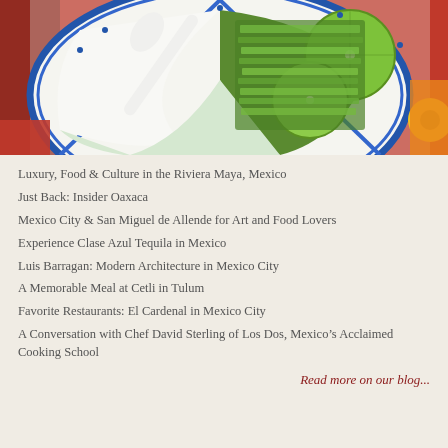[Figure (photo): Close-up photo of a traditional Mexican Talavera ceramic dish with divided sections containing chopped green herbs/scallions and sliced limes, with a white plastic utensil, on a colorful background with a yellow flower visible.]
Luxury, Food & Culture in the Riviera Maya, Mexico
Just Back: Insider Oaxaca
Mexico City & San Miguel de Allende for Art and Food Lovers
Experience Clase Azul Tequila in Mexico
Luis Barragan: Modern Architecture in Mexico City
A Memorable Meal at Cetli in Tulum
Favorite Restaurants: El Cardenal in Mexico City
A Conversation with Chef David Sterling of Los Dos, Mexico’s Acclaimed Cooking School
Read more on our blog...